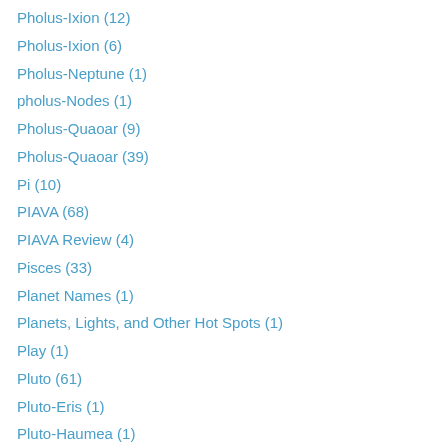Pholus-Ixion (12)
Pholus-Ixion (6)
Pholus-Neptune (1)
pholus-Nodes (1)
Pholus-Quaoar (9)
Pholus-Quaoar (39)
Pi (10)
PIAVA (68)
PIAVA Review (4)
Pisces (33)
Planet Names (1)
Planets, Lights, and Other Hot Spots (1)
Play (1)
Pluto (61)
Pluto-Eris (1)
Pluto-Haumea (1)
Pluto-Ixion (1)
Pluto-Moon (2)
Pluto-Nodes (13)
Plutoids (2)